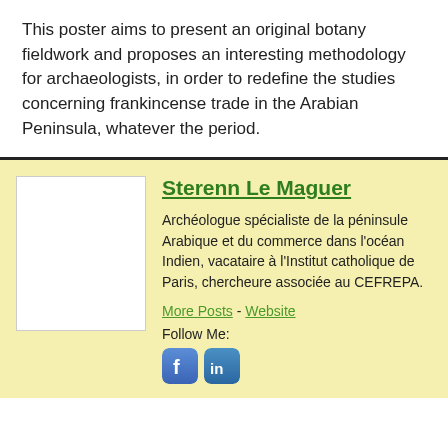This poster aims to present an original botany fieldwork and proposes an interesting methodology for archaeologists, in order to redefine the studies concerning frankincense trade in the Arabian Peninsula, whatever the period.
Sterenn Le Maguer
Archéologue spécialiste de la péninsule Arabique et du commerce dans l'océan Indien, vacataire à l'Institut catholique de Paris, chercheure associée au CEFREPA.
More Posts - Website
Follow Me: